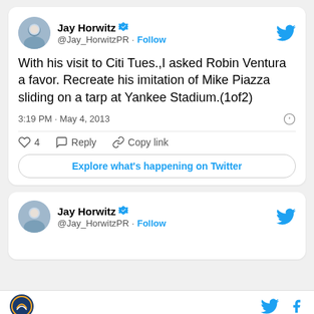[Figure (screenshot): Twitter/X screenshot showing a tweet by Jay Horwitz (@Jay_HorwitzPR) with blue verified checkmark and Follow button. Tweet text: 'With his visit to Citi Tues.,I asked Robin Ventura a favor. Recreate his imitation of Mike Piazza sliding on a tarp at Yankee Stadium.(1of2)'. Timestamp: 3:19 PM · May 4, 2013. Actions: 4 likes, Reply, Copy link. Button: Explore what's happening on Twitter. Second tweet card below from same user, partially visible. Page footer with logo and social icons.]